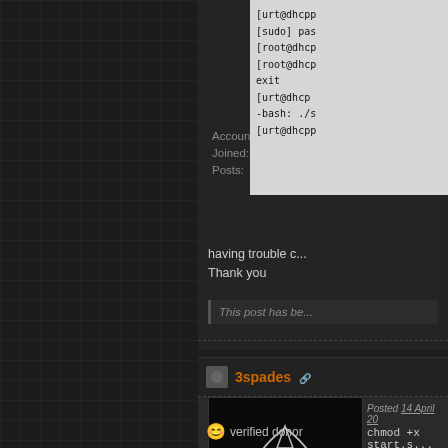[Figure (screenshot): Dark grid-patterned left panel of a forum page]
Account: kuznec
Joined: 12-April 11
Posts: 12
[Figure (screenshot): Terminal/console output showing [urt@dhcp, [sudo] pas, [root@dhcp, [root@dhcp, exit, [urt@dhcp, -bash: ./s, [urt@dhcp]
having trouble c... Thank you
This post has be...
3spades
[Figure (photo): Avatar image showing a spade symbol with stylized design on black background]
Posted 14 April 20...
chmod +x start.s...
urt.voxel.net :: R... Kevlar in CTF is ... the game withou...
verified donor